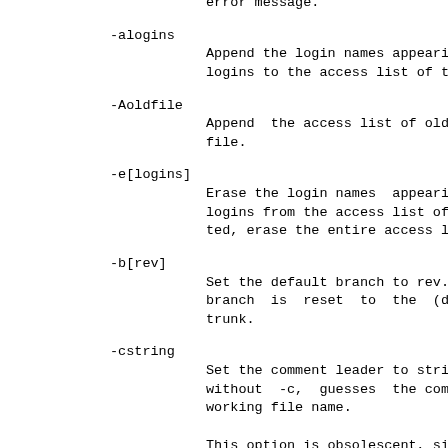error message.
-alogins
        Append the login names appearing in the logins to the access list of the RCS file.
-Aoldfile
        Append  the access list of oldfile to the access list of the RCS file.
-e[logins]
        Erase the login names  appearing  in  the  logins from the access list of the RCS file. If logins is omitted, erase the entire access list.
-b[rev]
        Set the default branch to rev.  If rev is omitted, the branch is reset to the (dynamically) highest branch on the trunk.
-cstring
        Set the comment leader to string.  An initial ci, without -c, guesses the comment leader from the working file name.

        This option is obsolescent, since RCS normally uses the $Log$ line's prefix when inserting log messages into working files (see co(1)).  However, older versions of RCS use the comment leader instead of the $Log$ line's prefix. So if you access a file with both old and new versions of RCS, make sure its comment leader matches its $Log$ line.